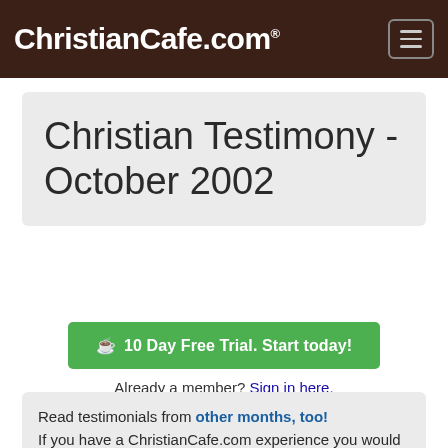ChristianCafe.com
Christian Testimony - October 2002
☕ 10 Day Free Trial. Start today!
Already a member? Sign in here.
Read testimonials from other months, too! If you have a ChristianCafe.com experience you would like to share with other members, please write to us.
❝ My friend and I both joined